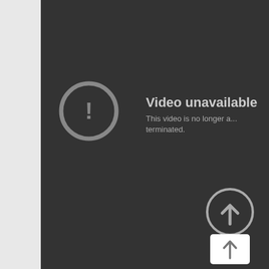[Figure (screenshot): YouTube 'Video unavailable' error screen. Dark background with a grey exclamation mark in a circle icon on the left, and text 'Video unavailable / This video is no longer a... terminated.' on the right. Bottom right shows an upload/share button with a circular arrow icon and a tooltip popup with an upward arrow icon.]